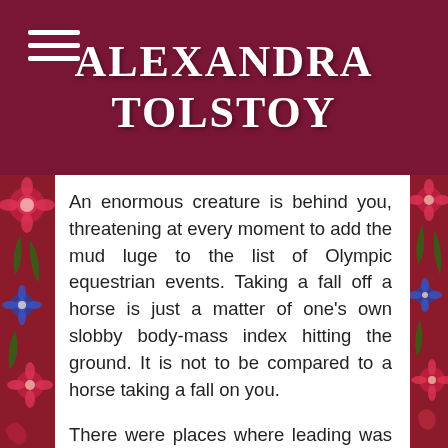ALEXANDRA TOLSTOY
An enormous creature is behind you, threatening at every moment to add the mud luge to the list of Olympic equestrian events. Taking a fall off a horse is just a matter of one's own slobby body-mass index hitting the ground. It is not to be compared to a horse taking a fall on you.
There were places where leading was impossible. We had to jump and slide on our own, then call the horses like dogs, asking them to perform stunts that Lassie would have left Timmy down the well rather than attempt.
Trigger, who'd shown no previous inclination to obey, or even notice me, turned petlike and followed with puppyish devotion. The crevice opened into a gorge and the gorge opened into a canyon, and once